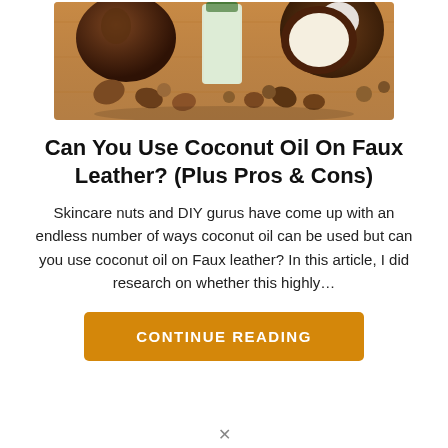[Figure (photo): Photo of coconuts (whole and cracked open), a jar of coconut oil, and various nuts/seeds on a wooden surface]
Can You Use Coconut Oil On Faux Leather? (Plus Pros & Cons)
Skincare nuts and DIY gurus have come up with an endless number of ways coconut oil can be used but can you use coconut oil on Faux leather? In this article, I did research on whether this highly…
CONTINUE READING